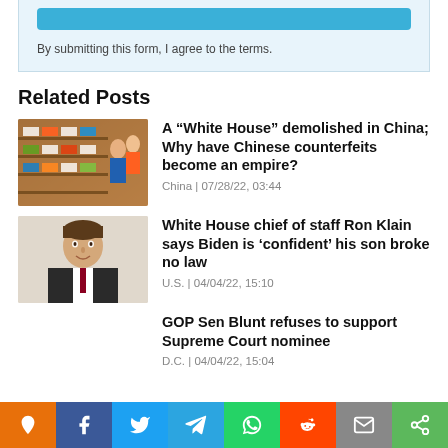By submitting this form, I agree to the terms.
Related Posts
[Figure (photo): Shoe store with shelves of sneakers and people browsing]
A “White House” demolished in China; Why have Chinese counterfeits become an empire?
China | 07/28/22, 03:44
[Figure (photo): Portrait of Ron Klain, White House chief of staff]
White House chief of staff Ron Klain says Biden is ‘confident’ his son broke no law
U.S. | 04/04/22, 15:10
GOP Sen Blunt refuses to support Supreme Court nominee
D.C. | 04/04/22, 15:04